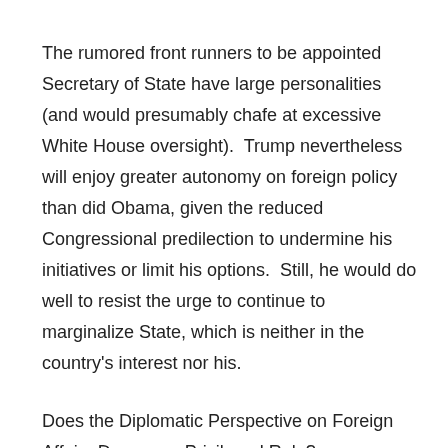The rumored front runners to be appointed Secretary of State have large personalities (and would presumably chafe at excessive White House oversight).  Trump nevertheless will enjoy greater autonomy on foreign policy than did Obama, given the reduced Congressional predilection to undermine his initiatives or limit his options.  Still, he would do well to resist the urge to continue to marginalize State, which is neither in the country's interest nor his.
Does the Diplomatic Perspective on Foreign Affairs Deserve a Privileged Role?